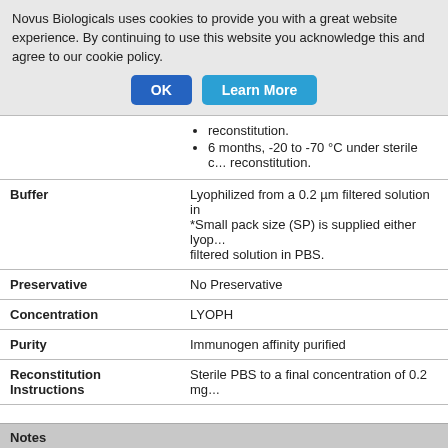Novus Biologicals uses cookies to provide you with a great website experience. By continuing to use this website you acknowledge this and agree to our cookie policy.
OK   Learn More
reconstitution.
6 months, -20 to -70 °C under sterile conditions after reconstitution.
|  |  |
| --- | --- |
| Buffer | Lyophilized from a 0.2 µm filtered solution in PBS. *Small pack size (SP) is supplied either lyophilized or as a filtered solution in PBS. |
| Preservative | No Preservative |
| Concentration | LYOPH |
| Purity | Immunogen affinity purified |
| Reconstitution Instructions | Sterile PBS to a final concentration of 0.2 mg/mL. |
Notes
This product is produced by and ships from R&D Systems, Inc., a Bio-Tech...
Alternate Names for PGPEP-1 Antibody